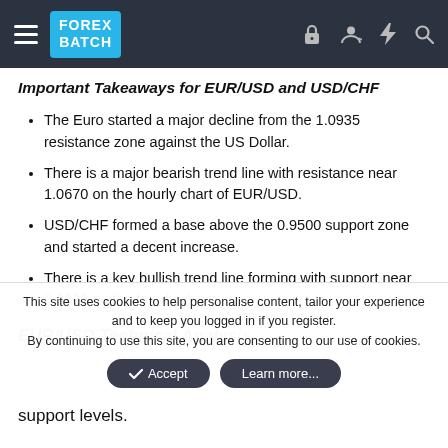FOREX BATCH
Important Takeaways for EUR/USD and USD/CHF
The Euro started a major decline from the 1.0935 resistance zone against the US Dollar.
There is a major bearish trend line with resistance near 1.0670 on the hourly chart of EUR/USD.
USD/CHF formed a base above the 0.9500 support zone and started a decent increase.
There is a key bullish trend line forming with support near 0.9600 on the hourly chart.
EUR/USD Technical Analysis (partial heading)
This site uses cookies to help personalise content, tailor your experience and to keep you logged in if you register. By continuing to use this site, you are consenting to our use of cookies.
support levels.